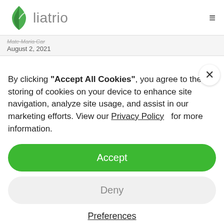liatrio
Mate Maria Car
August 2, 2021
By clicking "Accept All Cookies", you agree to the storing of cookies on your device to enhance site navigation, analyze site usage, and assist in our marketing efforts. View our Privacy Policy for more information.
Accept
Deny
Preferences